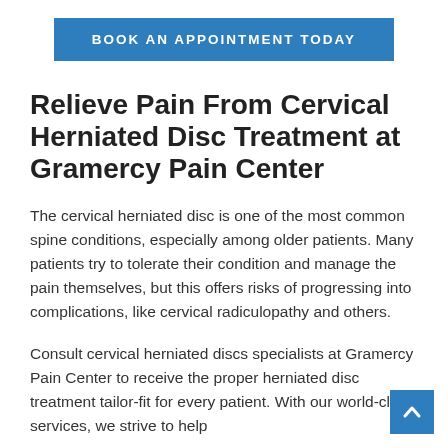BOOK AN APPOINTMENT TODAY
Relieve Pain From Cervical Herniated Disc Treatment at Gramercy Pain Center
The cervical herniated disc is one of the most common spine conditions, especially among older patients. Many patients try to tolerate their condition and manage the pain themselves, but this offers risks of progressing into complications, like cervical radiculopathy and others.
Consult cervical herniated discs specialists at Gramercy Pain Center to receive the proper herniated disc treatment tailor-fit for every patient. With our world-class services, we strive to help